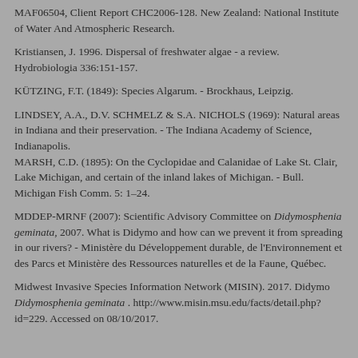MAF06504, Client Report CHC2006-128. New Zealand: National Institute of Water And Atmospheric Research.
Kristiansen, J. 1996. Dispersal of freshwater algae - a review. Hydrobiologia 336:151-157.
KÜTZING, F.T. (1849): Species Algarum. - Brockhaus, Leipzig.
LINDSEY, A.A., D.V. SCHMELZ & S.A. NICHOLS (1969): Natural areas in Indiana and their preservation. - The Indiana Academy of Science, Indianapolis.
MARSH, C.D. (1895): On the Cyclopidae and Calanidae of Lake St. Clair, Lake Michigan, and certain of the inland lakes of Michigan. - Bull. Michigan Fish Comm. 5: 1–24.
MDDEP-MRNF (2007): Scientific Advisory Committee on Didymosphenia geminata, 2007. What is Didymo and how can we prevent it from spreading in our rivers? - Ministère du Développement durable, de l'Environnement et des Parcs et Ministère des Ressources naturelles et de la Faune, Québec.
Midwest Invasive Species Information Network (MISIN). 2017. Didymo Didymosphenia geminata . http://www.misin.msu.edu/facts/detail.php?id=229. Accessed on 08/10/2017.